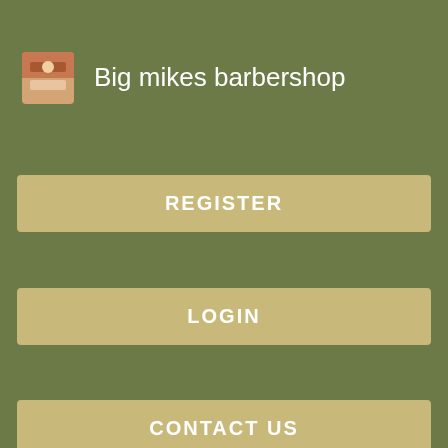[Figure (screenshot): App header with barbershop icon and title 'Big mikes barbershop' on olive green background]
Big mikes barbershop
REGISTER
LOGIN
CONTACT US
and you basically want all 'big ticket' items in order.
Woo hoo! By now, you basically have all the essentials lined up.
[Figure (screenshot): Video thumbnail with Vortex Radar logo and text 'Will Radenso Theia be Undetectable by the S', showing a man and radenso logo]